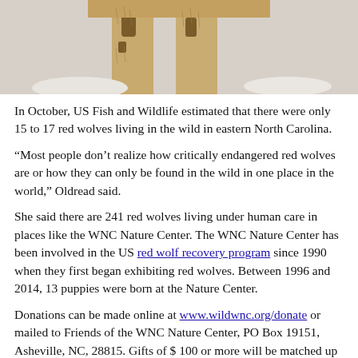[Figure (photo): Close-up photo of red wolf legs and lower body against a light/snowy background. The wolf's tawny/golden fur and dark markings on the legs are visible.]
In October, US Fish and Wildlife estimated that there were only 15 to 17 red wolves living in the wild in eastern North Carolina.
“Most people don’t realize how critically endangered red wolves are or how they can only be found in the wild in one place in the world,” Oldread said.
She said there are 241 red wolves living under human care in places like the WNC Nature Center. The WNC Nature Center has been involved in the US red wolf recovery program since 1990 when they first began exhibiting red wolves. Between 1996 and 2014, 13 puppies were born at the Nature Center.
Donations can be made online at www.wildwnc.org/donate or mailed to Friends of the WNC Nature Center, PO Box 19151, Asheville, NC, 28815. Gifts of $ 100 or more will be matched up to $ 2,500 by Weiler Woods for Wildlife, a red wolf conservation partner with the friends of the WNC Center, until the end of the year.